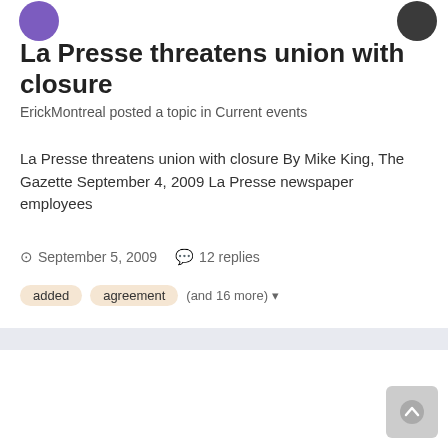La Presse threatens union with closure
ErickMontreal posted a topic in Current events
La Presse threatens union with closure By Mike King, The Gazette September 4, 2009 La Presse newspaper employees
September 5, 2009   12 replies
added   agreement   (and 16 more)